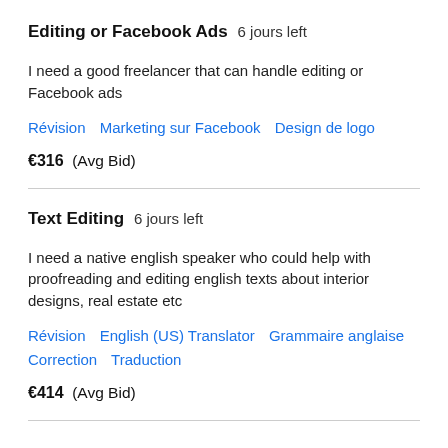Editing or Facebook Ads  6 jours left
I need a good freelancer that can handle editing or Facebook ads
Révision   Marketing sur Facebook   Design de logo
€316  (Avg Bid)
Text Editing  6 jours left
I need a native english speaker who could help with proofreading and editing english texts about interior designs, real estate etc
Révision   English (US) Translator   Grammaire anglaise   Correction   Traduction
€414  (Avg Bid)